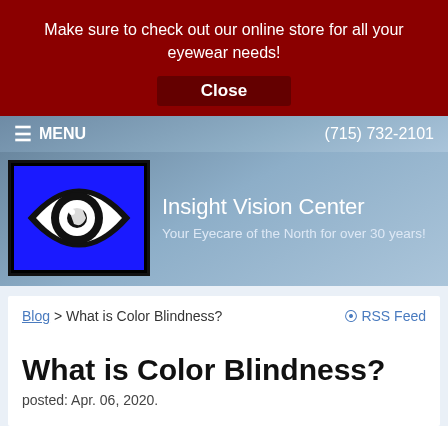Make sure to check out our online store for all your eyewear needs!
Close
≡ MENU   (715) 732-2101
[Figure (logo): Insight Vision Center logo: white eye with arrow pupil on blue background with black border]
Insight Vision Center
Your Eyecare of the North for over 30 years!
Blog > What is Color Blindness?
RSS Feed
What is Color Blindness?
posted: Apr. 06, 2020.